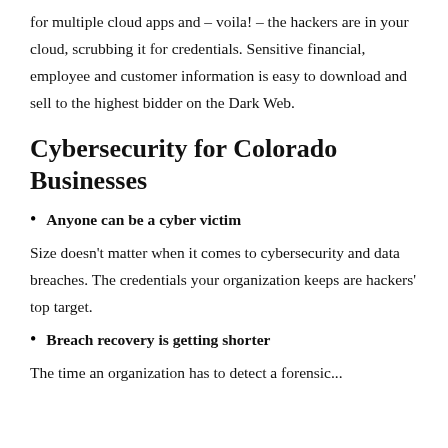for multiple cloud apps and – voila! – the hackers are in your cloud, scrubbing it for credentials. Sensitive financial, employee and customer information is easy to download and sell to the highest bidder on the Dark Web.
Cybersecurity for Colorado Businesses
Anyone can be a cyber victim
Size doesn't matter when it comes to cybersecurity and data breaches. The credentials your organization keeps are hackers' top target.
Breach recovery is getting shorter
The time an organization has to detect a forensic...